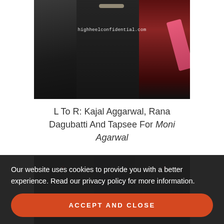[Figure (photo): Fashion show photo of three people in dark clothing on runway — L to R: Kajal Aggarwal, Rana Dagubatti and Tapsee for Moni Agarwal. Watermark reads highheelconfidential.com]
L To R: Kajal Aggarwal, Rana Dagubatti And Tapsee For Moni Agarwal
[Figure (photo): Two women in traditional Indian jewelry and attire posing at what appears to be a GIA/HJW event, with event backdrop visible]
Our website uses cookies to provide you with a better experience. Read our privacy policy for more information.
ACCEPT AND CLOSE